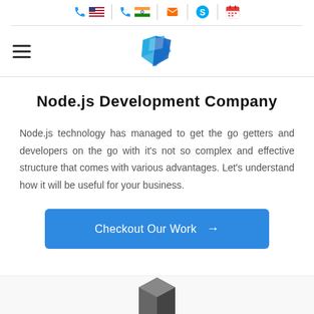Contact bar with US phone, India phone, email, Skype, and calendar icons; navigation bar with hamburger menu and company logo
Node.js Development Company
Node.js technology has managed to get the go getters and developers on the go with it's not so complex and effective structure that comes with various advantages. Let's understand how it will be useful for your business.
[Figure (other): Blue button labeled 'Checkout Our Work' with arrow icon]
[Figure (other): Bottom strip showing Node.js logo 3D shape and partial footer icons]